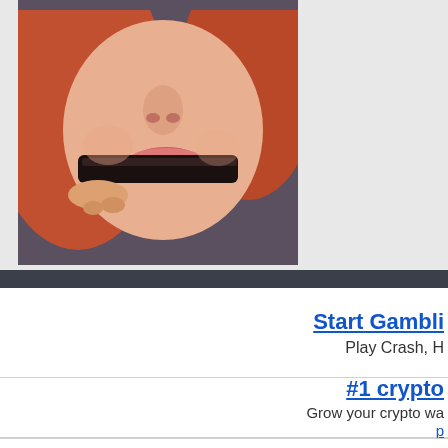[Figure (photo): Close-up photo of a red-haired woman putting a dark object near her mouth, cropped to show face and hands]
Start Gambli
Play Crash, H
#1 crypto
Grow your crypto wa p